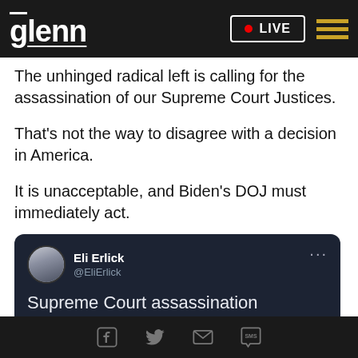glenn • LIVE
The unhinged radical left is calling for the assassination of our Supreme Court Justices.
That's not the way to disagree with a decision in America.
It is unacceptable, and Biden's DOJ must immediately act.
[Figure (screenshot): Embedded tweet from @EliErlick with text beginning 'Supreme Court assassination']
Social share icons: Facebook, Twitter, Email, SMS